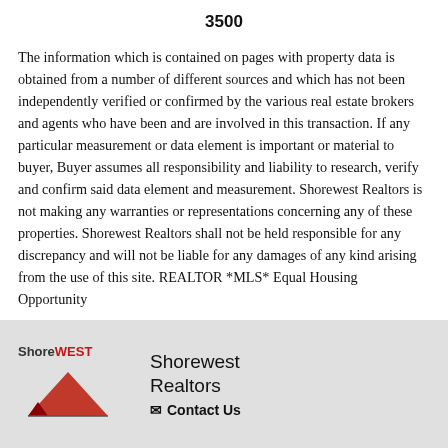3500
The information which is contained on pages with property data is obtained from a number of different sources and which has not been independently verified or confirmed by the various real estate brokers and agents who have been and are involved in this transaction. If any particular measurement or data element is important or material to buyer, Buyer assumes all responsibility and liability to research, verify and confirm said data element and measurement. Shorewest Realtors is not making any warranties or representations concerning any of these properties. Shorewest Realtors shall not be held responsible for any discrepancy and will not be liable for any damages of any kind arising from the use of this site. REALTOR *MLS* Equal Housing Opportunity
[Figure (logo): Shorewest Realtors logo with red triangle and wordmark]
Shorewest Realtors
✉ Contact Us